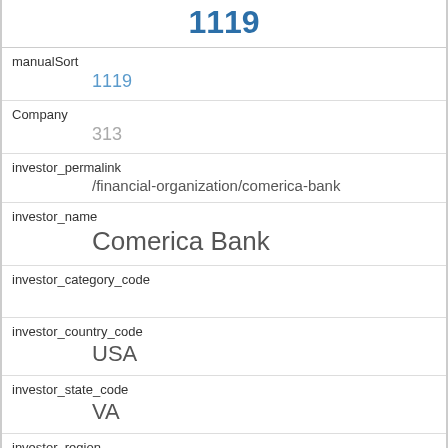1119
manualSort
1119
Company
313
investor_permalink
/financial-organization/comerica-bank
investor_name
Comerica Bank
investor_category_code
investor_country_code
USA
investor_state_code
VA
investor_region
Washington DC
investor_city
Reston
funding_round_type
other